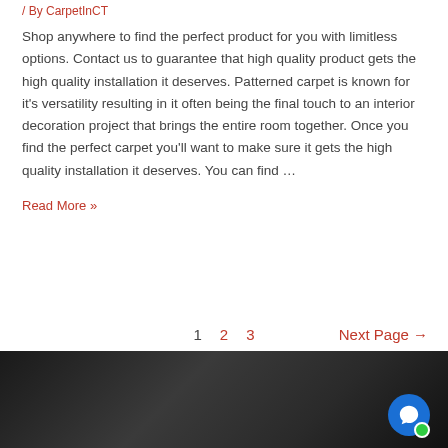/ By CarpetInCT
Shop anywhere to find the perfect product for you with limitless options. Contact us to guarantee that high quality product gets the high quality installation it deserves. Patterned carpet is known for it's versatility resulting in it often being the final touch to an interior decoration project that brings the entire room together. Once you find the perfect carpet you'll want to make sure it gets the high quality installation it deserves. You can find ...
Read More »
1
2
3
Next Page →
[Figure (photo): Dark/grey flooring or carpet installation photo at bottom of page]